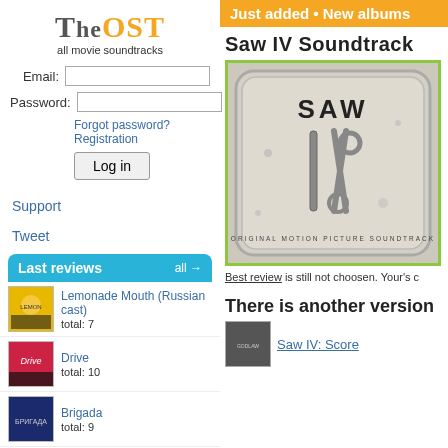TheOST — all movie soundtracks
Email: [input] Password: [input]
Forgot password?  Registration
Log in
Support
Tweet
Last reviews   all →
Lemonade Mouth (Russian cast)
total: 7
Drive
total: 10
Brigada
total: 9
East Five
Just added • New albums
Saw IV Soundtrack
[Figure (illustration): Saw IV Original Motion Picture Soundtrack album cover — metal tray with surgical scissors forming the Roman numeral IV, text SAW at top, ORIGINAL MOTION PICTURE SOUNDTRACK at bottom]
Best review is still not choosen. Your's c
There is another version
Saw IV: Score